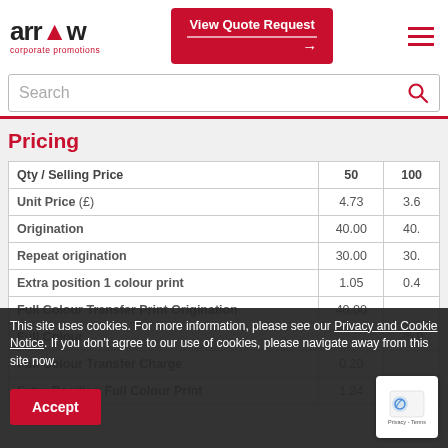[Figure (logo): Arrow Corporate Promotions logo — stylized 'arrow' text with a red house/arrow icon above the letter 'o', subtitle 'corporate promotions' in red]
[Figure (other): Red 'View Quote Request' button with arrow line and right-arrow pointer]
[Figure (other): Red hamburger menu icon (three horizontal lines)]
Search
Pricing
| Qty / Selling Price | 50 | 100 |
| --- | --- | --- |
| Unit Price (£) | 4.73 | 3.6 |
| Origination | 40.00 | 40. |
| Repeat origination | 30.00 | 30. |
| Extra position 1 colour print | 1.05 | 0.4 |
| Full Colour Transfer Print Origination | 40.00 |  |
| Full Colour |  | 25.0 |
| Full Colour Transfer Charge | 0.20 |  |
| Extra Position Full Colour Print | 1.24 | 0.9 |
This site uses cookies. For more information, please see our Privacy and Cookie Notice. If you don't agree to our use of cookies, please navigate away from this site now.
Accept